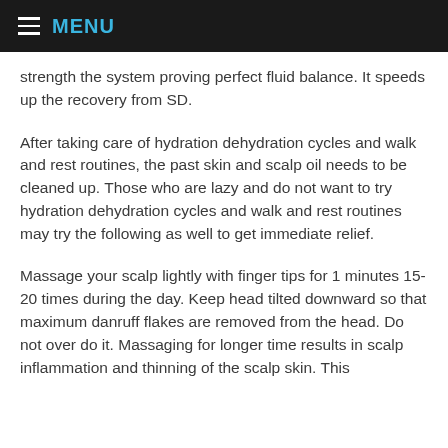MENU
strength the system proving perfect fluid balance. It speeds up the recovery from SD.
After taking care of hydration dehydration cycles and walk and rest routines, the past skin and scalp oil needs to be cleaned up. Those who are lazy and do not want to try hydration dehydration cycles and walk and rest routines may try the following as well to get immediate relief.
Massage your scalp lightly with finger tips for 1 minutes 15-20 times during the day. Keep head tilted downward so that maximum danruff flakes are removed from the head. Do not over do it. Massaging for longer time results in scalp inflammation and thinning of the scalp skin. This